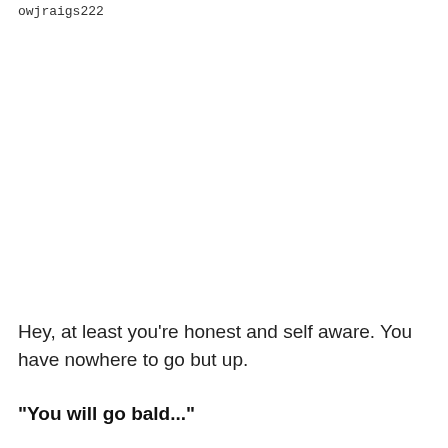owjraigs222
Hey, at least you're honest and self aware. You have nowhere to go but up.
"You will go bald..."